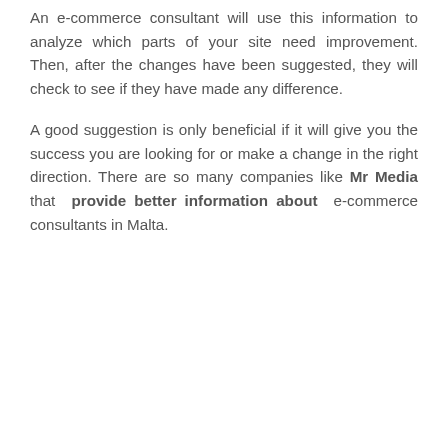An e-commerce consultant will use this information to analyze which parts of your site need improvement. Then, after the changes have been suggested, they will check to see if they have made any difference.
A good suggestion is only beneficial if it will give you the success you are looking for or make a change in the right direction. There are so many companies like Mr Media that provide better information about e-commerce consultants in Malta.